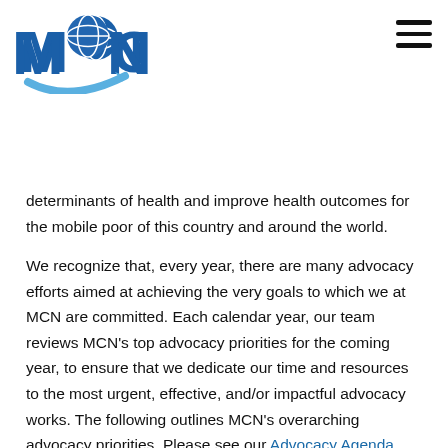[Figure (logo): MCN logo with globe icon and blue arrow swoosh]
determinants of health and improve health outcomes for the mobile poor of this country and around the world.
We recognize that, every year, there are many advocacy efforts aimed at achieving the very goals to which we at MCN are committed. Each calendar year, our team reviews MCN's top advocacy priorities for the coming year, to ensure that we dedicate our time and resources to the most urgent, effective, and/or impactful advocacy works. The following outlines MCN's overarching advocacy priorities. Please see our Advocacy Agenda, which we release annually, for more on this year's specific advocacy initiatives.
ACCESS TO HEALTH CARE